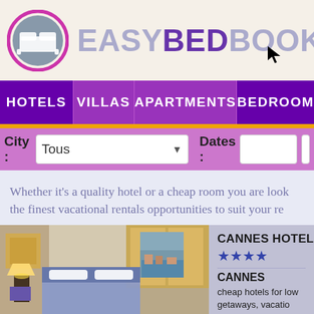[Figure (logo): EasyBedBooking.com website screenshot showing logo with purple circular bed icon]
[Figure (screenshot): Navigation bar with HOTELS, VILLAS, APARTMENTS, BEDROOM menu items in purple]
City : Tous    Dates :
Whether it's a quality hotel or a cheap room you are look the finest vacational rentals opportunities to suit your re
[Figure (photo): Hotel room photo showing bed with blue headboard, lamp and window with sea view in Cannes]
CANNES HOTEL BO
★★★★
CANNES
cheap hotels for low getaways, vacatio